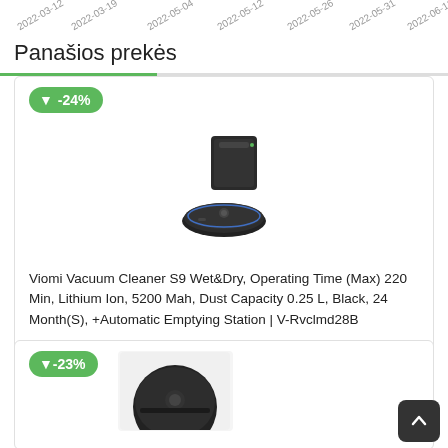[Figure (other): Date axis labels rotated diagonally: 2022-03-12, 2022-03-19, 2022-05-04, 2022-05-12, 2022-05-26, 2022-05-31, 2022-06-11]
Panašios prekės
[Figure (photo): Viomi robot vacuum cleaner S9 with automatic emptying station dock, black color]
Viomi Vacuum Cleaner S9 Wet&Dry, Operating Time (Max) 220 Min, Lithium Ion, 5200 Mah, Dust Capacity 0.25 L, Black, 24 Month(S), +Automatic Emptying Station | V-Rvclmd28B
Sena kaina: 466.5€
Kaina 357.52 €
[Figure (photo): Second product card with -23% discount badge and robot vacuum cleaner image (partial view)]